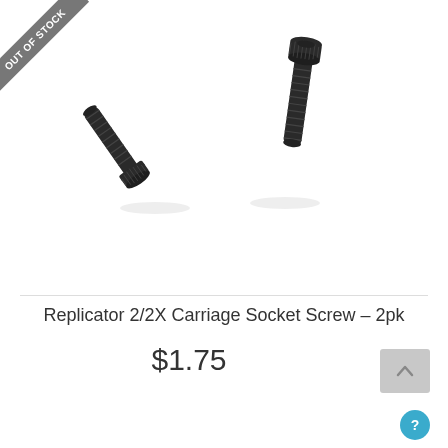[Figure (photo): Two black metal carriage socket screws (M3 socket cap screws) shown side by side on a white background, with an 'OUT OF STOCK' diagonal ribbon banner in the upper-left corner.]
Replicator 2/2X Carriage Socket Screw – 2pk
$1.75